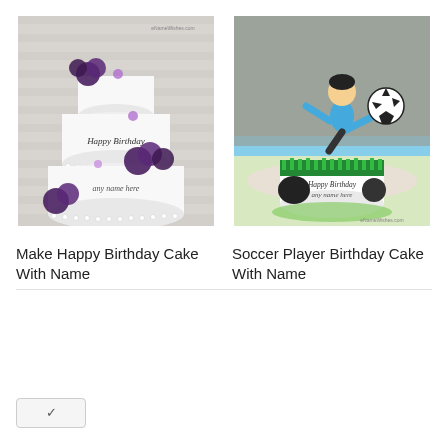[Figure (photo): White multi-tier birthday cake decorated with dark purple roses, smaller purple and white flowers, pearl borders, with 'Happy Birthday' and 'any name here' text on the cake. Light brick wall background.]
[Figure (photo): Soccer player birthday cake with a fondant/plastic figurine of a boy in blue soccer outfit kicking a soccer ball, placed on top of a green grass-decorated round white cake with soccer ball patterns, 'Happy Birthday any name here' text on the cake side. Wooden fence background.]
Make Happy Birthday Cake With Name
Soccer Player Birthday Cake With Name